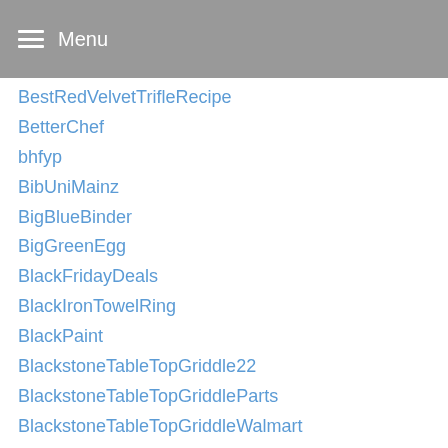Menu
BestRedVelvetTrifleRecipe
BetterChef
bhfyp
BibUniMainz
BigBlueBinder
BigGreenEgg
BlackFridayDeals
BlackIronTowelRing
BlackPaint
BlackstoneTableTopGriddle22
BlackstoneTableTopGriddleParts
BlackstoneTableTopGriddleWalmart
BlackTowelRingIkea
Blazer
Bosch
boutique
BoxFurnitureVerkaufenRack